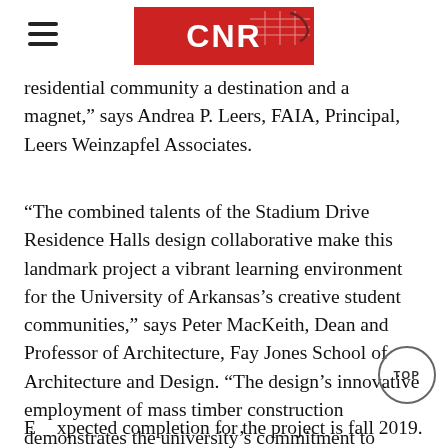CNR
residential community a destination and a magnet,” says Andrea P. Leers, FAIA, Principal, Leers Weinzapfel Associates.
“The combined talents of the Stadium Drive Residence Halls design collaborative make this landmark project a vibrant learning environment for the University of Arkansas’s creative student communities,” says Peter MacKeith, Dean and Professor of Architecture, Fay Jones School of Architecture and Design. “The design’s innovative employment of mass timber construction demonstrates the university’s commitment to environmental sustainability and to the potentials of ‘value-added’ responsible economic development for the state’s primary natural resource.”
Expected completion for the project is fall 2019.